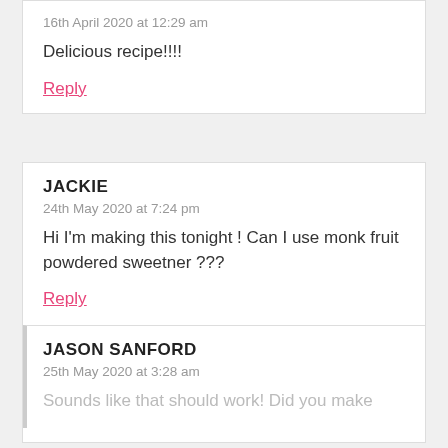16th April 2020 at 12:29 am
Delicious recipe!!!!
Reply
JACKIE
24th May 2020 at 7:24 pm
Hi I'm making this tonight ! Can I use monk fruit powdered sweetner ???
Reply
JASON SANFORD
25th May 2020 at 3:28 am
Sounds like that should work! Did you make